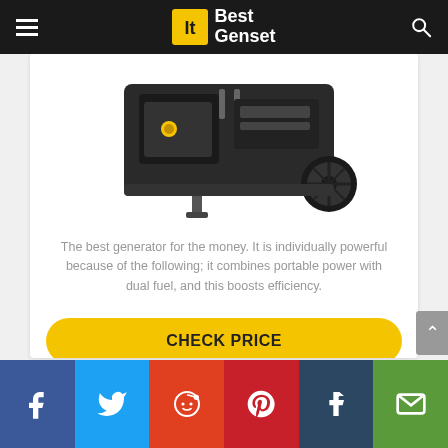Best Genset
[Figure (photo): Portable generator product photo showing engine with wheels on white background]
The best generator for the money. It is individually powerful because of the following; it combines portable power with dual fuel, and this boosts efficiency.
CHECK PRICE
Read full review
Social share bar: Facebook, Twitter, Reddit, Pinterest, Tumblr, Email